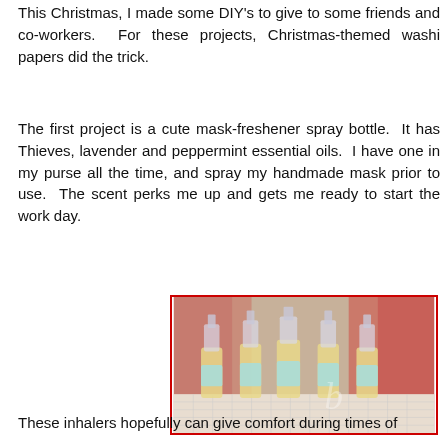This Christmas, I made some DIY's to give to some friends and co-workers.  For these projects, Christmas-themed washi papers did the trick.
The first project is a cute mask-freshener spray bottle.  It has Thieves, lavender and peppermint essential oils.  I have one in my purse all the time, and spray my handmade mask prior to use.  The scent perks me up and gets me ready to start the work day.
[Figure (photo): Five small glass spray bottles with light blue washi paper labels, arranged in a row on a table with a Christmas-themed background featuring red decorations.]
These inhalers hopefully can give comfort during times of breathless anticipation...